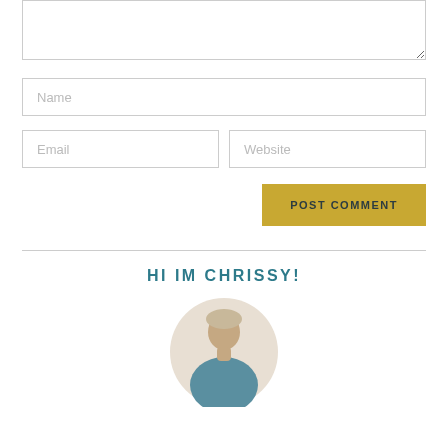[Figure (screenshot): Web form with textarea, name input, email and website inputs, a POST COMMENT button, a horizontal divider, a 'HI IM CHRISSY!' heading, and a circular avatar photo of a woman]
Name
Email
Website
POST COMMENT
HI IM CHRISSY!